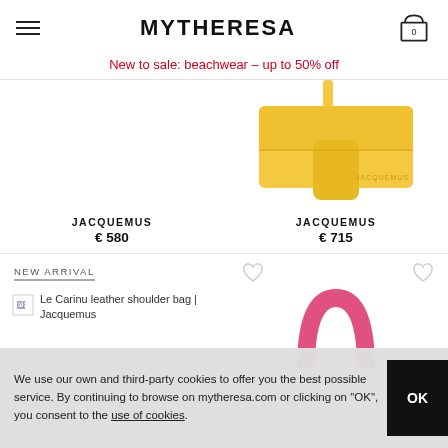MYTHERESA
New to sale: beachwear – up to 50% off
[Figure (photo): Yellow Jacquemus leather bag product photo]
JACQUEMUS
€ 580
JACQUEMUS
€ 715
NEW ARRIVAL
[Figure (photo): Pink Jacquemus bag product photo, partially visible]
Le Carinu leather shoulder bag | Jacquemus
We use our own and third-party cookies to offer you the best possible service. By continuing to browse on mytheresa.com or clicking on "OK", you consent to the use of cookies.